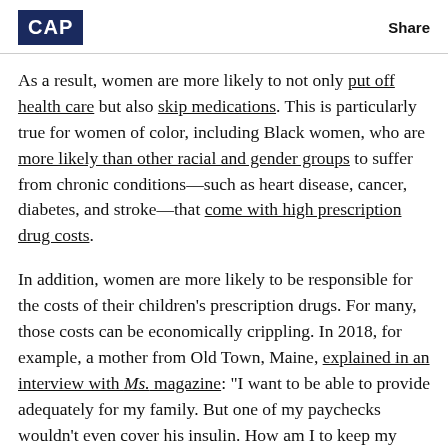CAP | Share
As a result, women are more likely to not only put off health care but also skip medications. This is particularly true for women of color, including Black women, who are more likely than other racial and gender groups to suffer from chronic conditions—such as heart disease, cancer, diabetes, and stroke—that come with high prescription drug costs.
In addition, women are more likely to be responsible for the costs of their children's prescription drugs. For many, those costs can be economically crippling. In 2018, for example, a mother from Old Town, Maine, explained in an interview with Ms. magazine: “I want to be able to provide adequately for my family. But one of my paychecks wouldn’t even cover his insulin. How am I to keep my child healthy and alive at prices like that?”